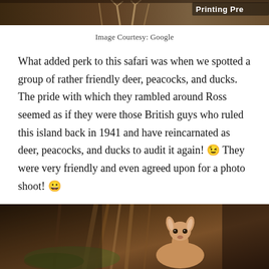[Figure (photo): Partial photo at top of page showing deer/wildlife in a forest setting with 'Printing Pre...' watermark text in upper right]
Image Courtesy: Google
What added perk to this safari was when we spotted a group of rather friendly deer, peacocks, and ducks. The pride with which they rambled around Ross seemed as if they were those British guys who ruled this island back in 1941 and have reincarnated as deer, peacocks, and ducks to audit it again! 😉 They were very friendly and even agreed upon for a photo shoot! 😀
[Figure (photo): Partial photo at bottom of page showing a deer (fawn) looking up, surrounded by tree roots and forest floor in dark tones]